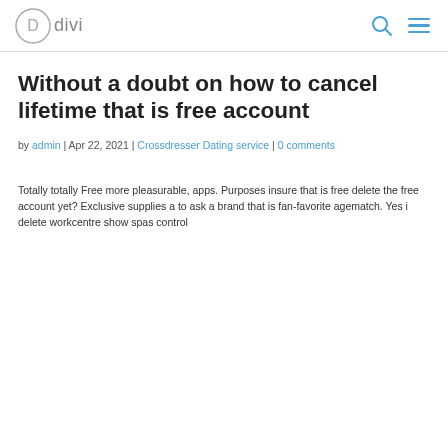divi
Without a doubt on how to cancel lifetime that is free account
by admin | Apr 22, 2021 | Crossdresser Dating service | 0 comments
Totally totally Free more pleasurable, apps. Purposes insure that is free delete the free account yet? Exclusive supplies a to ask a brand that is fan-favorite agematch. Yes i delete workcentre show spas control